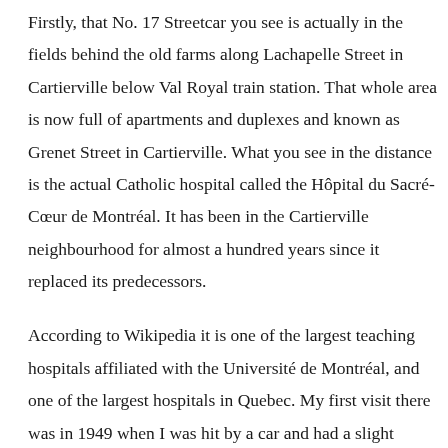Firstly, that No. 17 Streetcar you see is actually in the fields behind the old farms along Lachapelle Street in Cartierville below Val Royal train station. That whole area is now full of apartments and duplexes and known as Grenet Street in Cartierville. What you see in the distance is the actual Catholic hospital called the Hôpital du Sacré-Cœur de Montréal. It has been in the Cartierville neighbourhood for almost a hundred years since it replaced its predecessors.
According to Wikipedia it is one of the largest teaching hospitals affiliated with the Université de Montréal, and one of the largest hospitals in Quebec. My first visit there was in 1949 when I was hit by a car and had a slight concussion. Then in